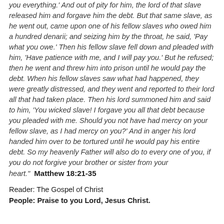you everything.' And out of pity for him, the lord of that slave released him and forgave him the debt. But that same slave, as he went out, came upon one of his fellow slaves who owed him a hundred denarii; and seizing him by the throat, he said, 'Pay what you owe.' Then his fellow slave fell down and pleaded with him, 'Have patience with me, and I will pay you.' But he refused; then he went and threw him into prison until he would pay the debt. When his fellow slaves saw what had happened, they were greatly distressed, and they went and reported to their lord all that had taken place. Then his lord summoned him and said to him, 'You wicked slave! I forgave you all that debt because you pleaded with me. Should you not have had mercy on your fellow slave, as I had mercy on you?' And in anger his lord handed him over to be tortured until he would pay his entire debt. So my heavenly Father will also do to every one of you, if you do not forgive your brother or sister from your heart." Matthew 18:21-35
Reader: The Gospel of Christ
People: Praise to you Lord, Jesus Christ.